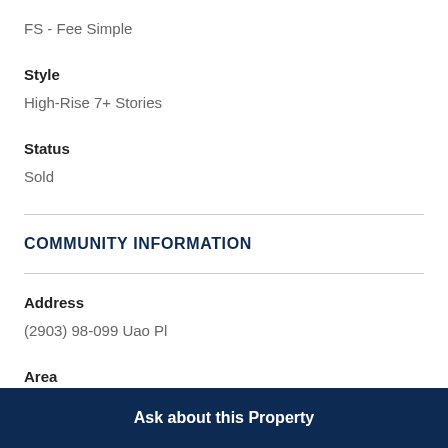FS - Fee Simple
Style
High-Rise 7+ Stories
Status
Sold
COMMUNITY INFORMATION
Address
(2903) 98-099 Uao Pl
Area
Ask about this Property